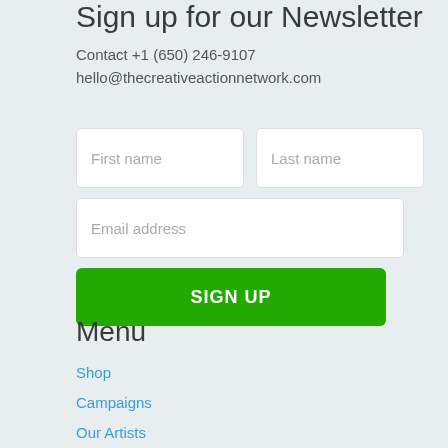Sign up for our Newsletter
Contact +1 (650) 246-9107
hello@thecreativeactionnetwork.com
[Figure (other): Newsletter signup form with First name, Last name, Email address fields and a SIGN UP button]
Menu
Shop
Campaigns
Our Artists